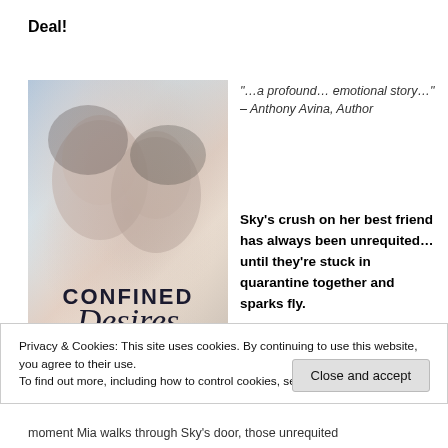Deal!
[Figure (illustration): Book cover of 'Confined Desires' showing two people with faces close together in a romantic pose, with script title text.]
“…a profound… emotional story…” – Anthony Avina, Author
Sky’s crush on her best friend has always been unrequited… until they’re stuck in quarantine together and sparks fly.
Privacy & Cookies: This site uses cookies. By continuing to use this website, you agree to their use.
To find out more, including how to control cookies, see here: Cookie Policy
Close and accept
moment Mia walks through Sky’s door, those unrequited